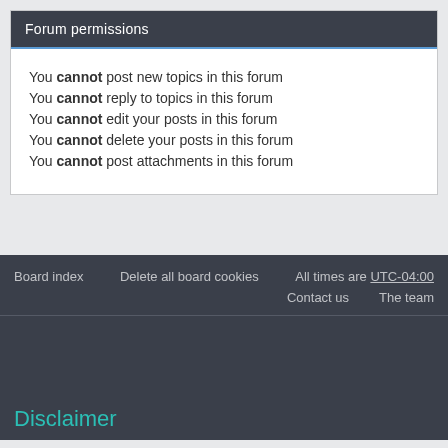Forum permissions
You cannot post new topics in this forum
You cannot reply to topics in this forum
You cannot edit your posts in this forum
You cannot delete your posts in this forum
You cannot post attachments in this forum
Board index   Delete all board cookies   All times are UTC-04:00   Contact us   The team
Disclaimer